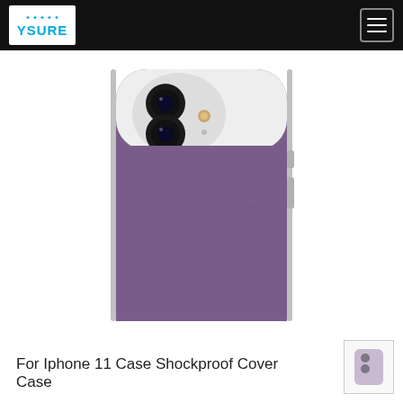YSURE
[Figure (photo): Purple iPhone 11 shockproof cover case shown from the back, with dual camera cutout visible at top-left of the phone]
For Iphone 11 Case Shockproof Cover Case